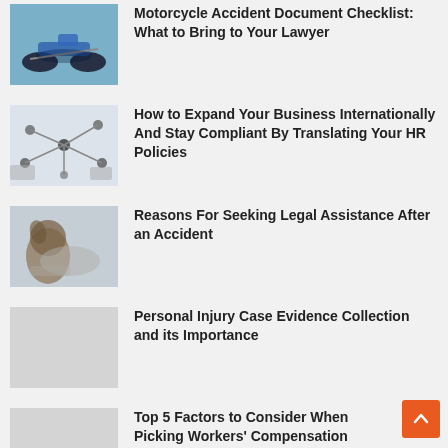Motorcycle Accident Document Checklist: What to Bring to Your Lawyer
How to Expand Your Business Internationally And Stay Compliant By Translating Your HR Policies
Reasons For Seeking Legal Assistance After an Accident
Personal Injury Case Evidence Collection and its Importance
Top 5 Factors to Consider When Picking Workers' Compensation Lawyers